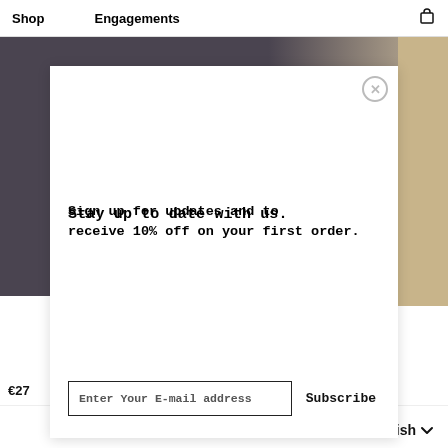Shop    Engagements
[Figure (photo): Background photo of person in dark robe with shelving/wooden decor on right side]
Stay up to date with us.
Sign up for updates and to receive 10% off on your first order.
Enter Your E-mail address   Subscribe
€27
English